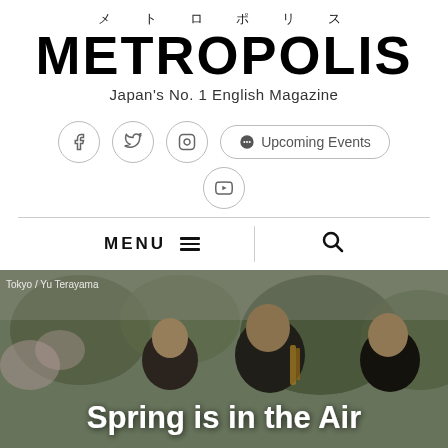メトロポリス METROPOLIS Japan's No. 1 English Magazine
[Figure (screenshot): Social media icons: Facebook, Twitter, Instagram circles and a YouTube circle, plus Upcoming Events rounded button with Spotify-like icon]
MENU ☰
[Figure (photo): Outdoor photo of Japanese musicians playing wind instruments in spring, with cherry blossoms and trees in the background. Credit: Tokyo / Yu Terayama. Headline overlay: Spring is in the Air]